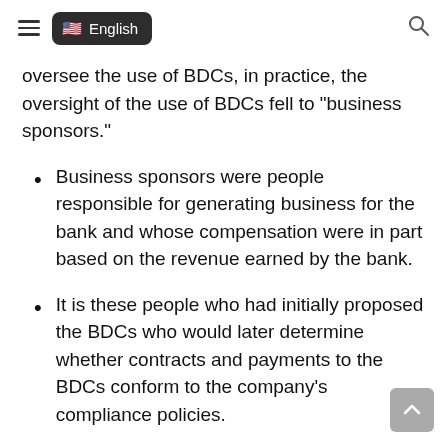English
oversee the use of BDCs, in practice, the oversight of the use of BDCs fell to “business sponsors.”
Business sponsors were people responsible for generating business for the bank and whose compensation were in part based on the revenue earned by the bank.
It is these people who had initially proposed the BDCs who would later determine whether contracts and payments to the BDCs conform to the company’s compliance policies.